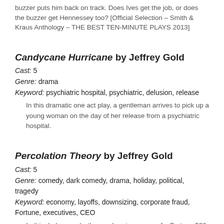buzzer puts him back on track. Does Ives get the job, or does the buzzer get Hennessey too? [Official Selection – Smith & Kraus Anthology – THE BEST TEN-MINUTE PLAYS 2013]
Candycane Hurricane by Jeffrey Gold
Cast: 5
Genre: drama
Keyword: psychiatric hospital, psychiatric, delusion, release
In this dramatic one act play, a gentleman arrives to pick up a young woman on the day of her release from a psychiatric hospital.
Percolation Theory by Jeffrey Gold
Cast: 5
Genre: comedy, dark comedy, drama, holiday, political, tragedy
Keyword: economy, layoffs, downsizing, corporate fraud, Fortune, executives, CEO
In this dark comedy, the overbearing owner of a Fortune 500 company visits the home of a former employee—with a few surprises. FINALIST – 2005 Theatre Publicus Prize for Dramatic